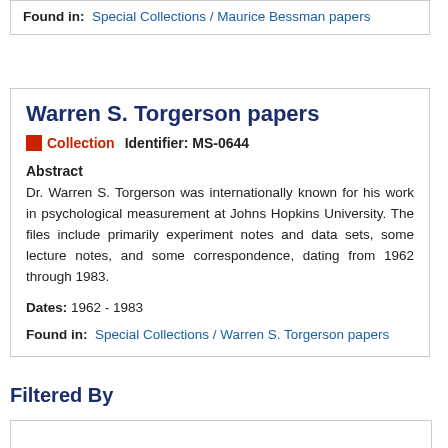Found in: Special Collections / Maurice Bessman papers
Warren S. Torgerson papers
Collection  Identifier: MS-0644
Abstract
Dr. Warren S. Torgerson was internationally known for his work in psychological measurement at Johns Hopkins University. The files include primarily experiment notes and data sets, some lecture notes, and some correspondence, dating from 1962 through 1983.
Dates: 1962 - 1983
Found in: Special Collections / Warren S. Torgerson papers
Filtered By